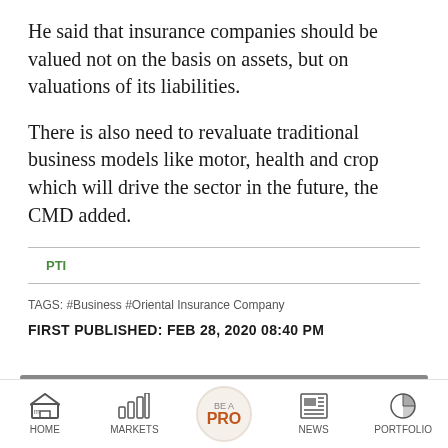He said that insurance companies should be valued not on the basis on assets, but on valuations of its liabilities.
There is also need to revaluate traditional business models like motor, health and crop which will drive the sector in the future, the CMD added.
PTI
TAGS: #Business #Oriental Insurance Company
FIRST PUBLISHED: FEB 28, 2020 08:40 PM
HOME | MARKETS | BE A PRO | NEWS | PORTFOLIO